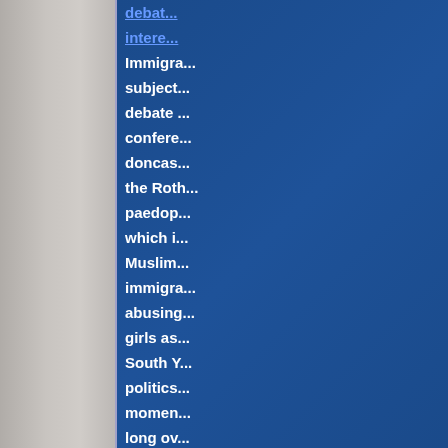debat...
intere...
Immigra...
subject...
debate ...
confere...
doncas...
the Roth...
paedop...
which i...
Muslim...
immigra...
abusing...
girls as...
South Y...
politics...
momen...
long ov...
serious...